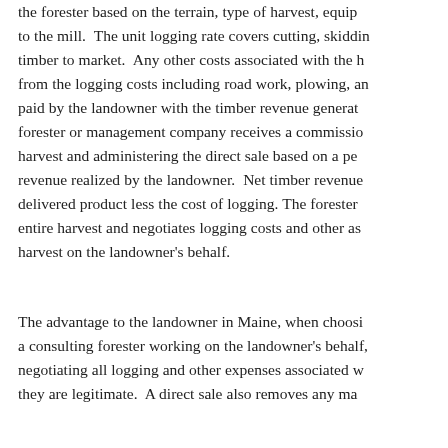the forester based on the terrain, type of harvest, equip to the mill.  The unit logging rate covers cutting, skiddin timber to market.  Any other costs associated with the h from the logging costs including road work, plowing, an paid by the landowner with the timber revenue generat forester or management company receives a commissio harvest and administering the direct sale based on a pe revenue realized by the landowner.  Net timber revenue delivered product less the cost of logging. The forester entire harvest and negotiates logging costs and other as harvest on the landowner's behalf.
The advantage to the landowner in Maine, when choosi a consulting forester working on the landowner's behalf, negotiating all logging and other expenses associated w they are legitimate.  A direct sale also removes any ma